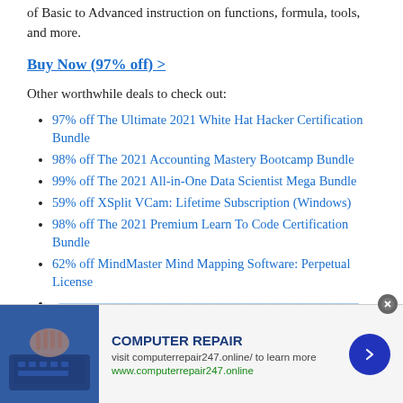of Basic to Advanced instruction on functions, formula, tools, and more.
Buy Now (97% off) >
Other worthwhile deals to check out:
97% off The Ultimate 2021 White Hat Hacker Certification Bundle
98% off The 2021 Accounting Mastery Bootcamp Bundle
99% off The 2021 All-in-One Data Scientist Mega Bundle
59% off XSplit VCam: Lifetime Subscription (Windows)
98% off The 2021 Premium Learn To Code Certification Bundle
62% off MindMaster Mind Mapping Software: Perpetual License
(truncated item)
[Figure (infographic): Advertisement banner for Computer Repair with a photo of hands on laptop, title COMPUTER REPAIR, subtitle text, URL www.computerrepair247.online, and a blue circular arrow button with a close X button.]